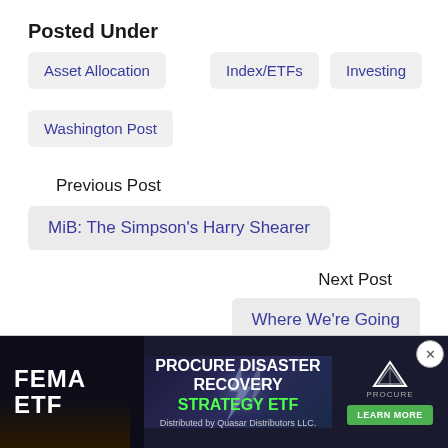Posted Under
Asset Allocation
Index/ETFs
Investing
Washington Post
Previous Post
MiB: The Simpson's Harry Shearer
Next Post
Where We're Going
[Figure (advertisement): FEMA ETF / Procure Disaster Recovery Strategy ETF advertisement banner with green button 'LEARN MORE'. Distributed by Quasar Distributors LLC.]